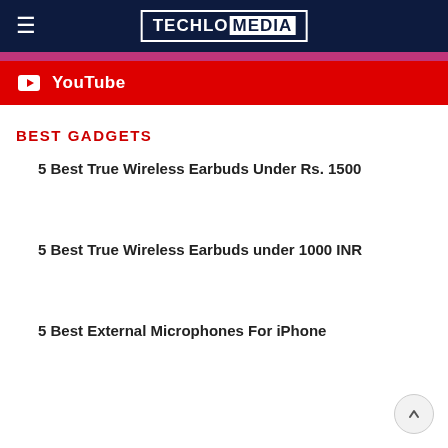TECHLO MEDIA
YouTube
BEST GADGETS
5 Best True Wireless Earbuds Under Rs. 1500
5 Best True Wireless Earbuds under 1000 INR
5 Best External Microphones For iPhone